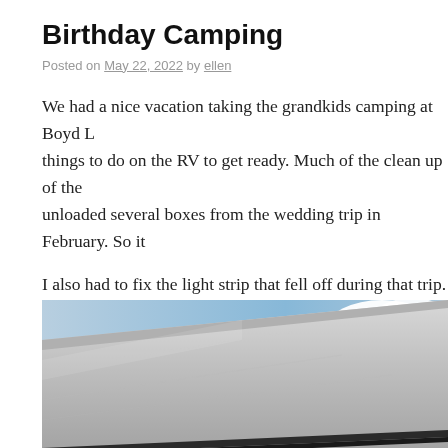Birthday Camping
Posted on May 22, 2022 by ellen
We had a nice vacation taking the grandkids camping at Boyd L... things to do on the RV to get ready. Much of the clean up of the... unloaded several boxes from the wedding trip in February. So it...
I also had to fix the light strip that fell off during that trip. I used... back up and found that the strip had broken so only a few of the... replacement strip to put on someday.
[Figure (photo): Close-up photo of what appears to be the exterior of an RV or vehicle roof/awning at an angle, with blue sky and white clouds visible in the upper right corner.]